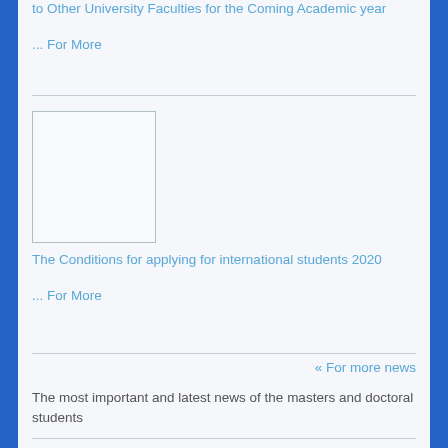to Other University Faculties for the Coming Academic year
... For More
[Figure (photo): Blank/placeholder image box]
The Conditions for applying for international students 2020
... For More
« For more news
The most important and latest news of the masters and doctoral students